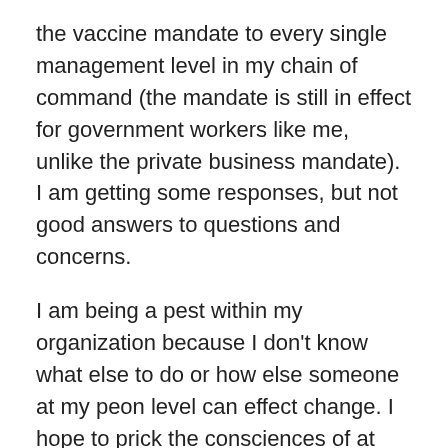the vaccine mandate to every single management level in my chain of command (the mandate is still in effect for government workers like me, unlike the private business mandate). I am getting some responses, but not good answers to questions and concerns.
I am being a pest within my organization because I don't know what else to do or how else someone at my peon level can effect change. I hope to prick the consciences of at least a few folks in senior leadership, but I fear too many of them are unwilling to risk their own positions of authority to do anything substantial. They say they care about the employees they manage, but if they really cared they would see this mandate is doing far more harm than good. The unfortunate truth is that while our political leaders are responsible for this awful mandate, there are many senior leaders in private business and